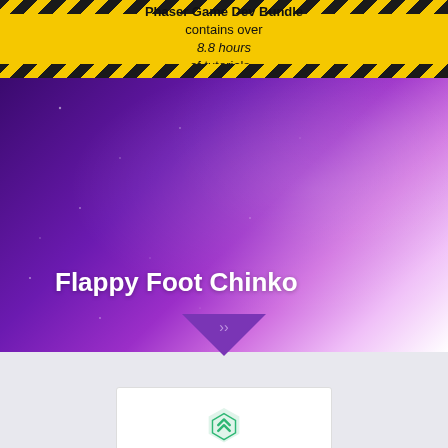Complete Phaser Game Dev Bundle contains over 8.8 hours of tutorials - Details here
[Figure (illustration): Purple gradient hero banner with light rays and sparkle effects, dark purple to bright light on right side]
Flappy Foot Chinko
[Figure (logo): New Relic logo - green geometric cube/hexagon icon above 'new relic.' wordmark in dark gray with green period]
New Relic I/O delivers pre-built dashboards and guided installs